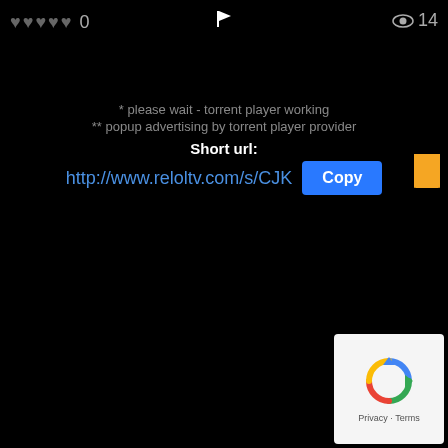♥ ♥ ♥ ♥ ♥  0   🏴   👁 14
* please wait - torrent player working
** popup advertising by torrent player provider
Short url:
http://www.reloltv.com/s/CJK   Copy
[Figure (logo): Google reCAPTCHA logo with circular arrows icon and 'Privacy - Terms' text below]